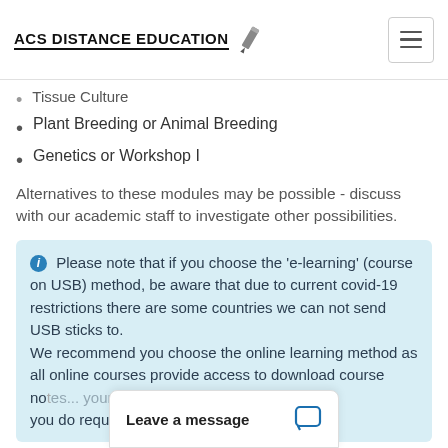ACS Distance Education
Tissue Culture
Plant Breeding or Animal Breeding
Genetics or Workshop I
Alternatives to these modules may be possible - discuss with our academic staff to investigate other possibilities.
Please note that if you choose the 'e-learning' (course on USB) method, be aware that due to current covid-19 restrictions there are some countries we can not send USB sticks to. We recommend you choose the online learning method as all online courses provide access to download course no... you do require your c...